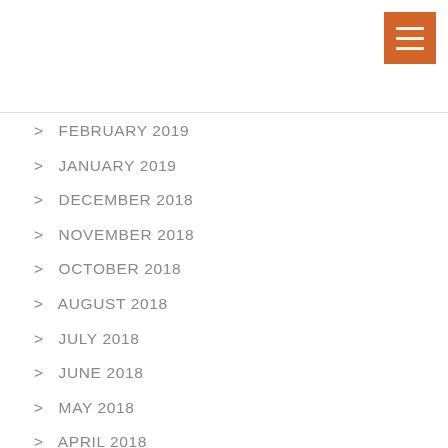> FEBRUARY 2019
> JANUARY 2019
> DECEMBER 2018
> NOVEMBER 2018
> OCTOBER 2018
> AUGUST 2018
> JULY 2018
> JUNE 2018
> MAY 2018
> APRIL 2018
> MARCH 2018